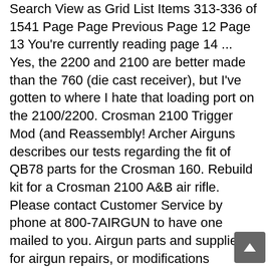Search View as Grid List Items 313-336 of 1541 Page Page Previous Page 12 Page 13 You're currently reading page 14 ... Yes, the 2200 and 2100 are better made than the 760 (die cast receiver), but I've gotten to where I hate that loading port on the 2100/2200. Crosman 2100 Trigger Mod (and Reassembly! Archer Airguns describes our tests regarding the fit of QB78 parts for the Crosman 160. Rebuild kit for a Crosman 2100 A&B air rifle. Please contact Customer Service by phone at 800-7AIRGUN to have one mailed to you. Airgun parts and supplies for airgun repairs, or modifications including seal kits, adapters, stocks, barrels and more. Congratulations and thank you for purchasing the CROSMAN® Model 2100. Time: ending soonest Time: newly listed Price + Shipping: lowest first Price + Shipping: highest first You must know the part number you need. Shop for Rifles parts and accessories with Numrich Gun Parts, the world's largest supplier of gun parts. Please note these are the only spares available to us. Crosman 2100x 2100 classic single shot variable pump air rifle with 4x15x 40mm brownblack 0177 caliber. Always carefully follow the safety instructions Crosman 2100 / Classic Please find below the exploded parts diagram, parts